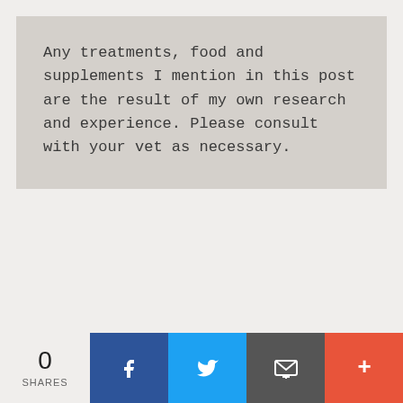Any treatments, food and supplements I mention in this post are the result of my own research and experience. Please consult with your vet as necessary.
0 SHARES | Facebook | Twitter | Email | More